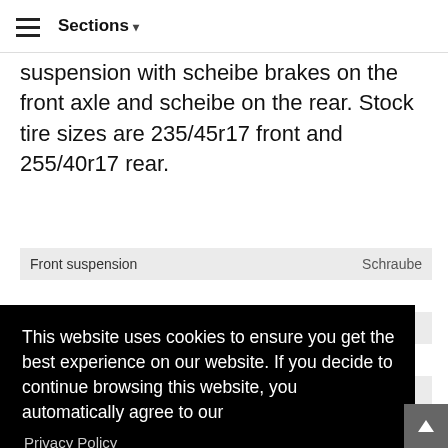≡  Sections ▾
suspension with scheibe brakes on the front axle and scheibe on the rear. Stock tire sizes are 235/45r17 front and 255/40r17 rear.
| Front suspension | Schraube |
| --- | --- |
This website uses cookies to ensure you get the best experience on our website. If you decide to continue browsing this website, you automatically agree to our
Privacy Policy
Got it!